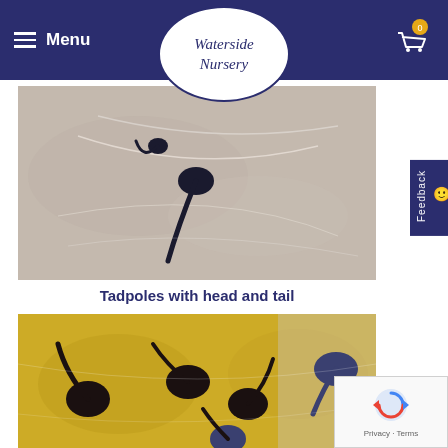Menu | Waterside Nursery | Cart (0)
[Figure (photo): Close-up photo of tadpoles with head and tail visible in water on a light grey/beige background]
Tadpoles with head and tail
[Figure (photo): Close-up photo of multiple tadpoles on a yellow/golden background showing dark rounded bodies with tails]
[Figure (other): Feedback tab on the right side]